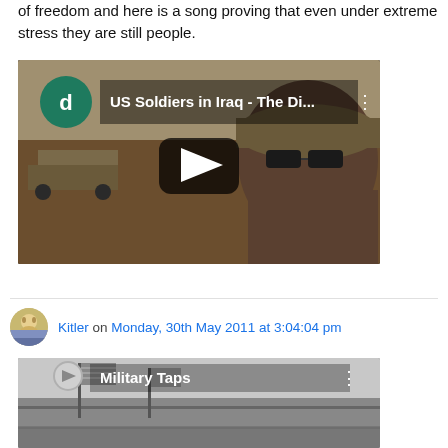of freedom and here is a song proving that even under extreme stress they are still people.
[Figure (screenshot): YouTube video thumbnail showing a US soldier in Iraq wearing sunglasses and camouflage hat. Title reads 'US Soldiers in Iraq - The Di...' with a play button overlay. Channel icon 'd' in green circle at top left.]
Kitler on Monday, 30th May 2011 at 3:04:04 pm
[Figure (screenshot): YouTube video thumbnail in black and white showing a military scene with flags. Title reads 'Military Taps' with three-dot menu icon.]